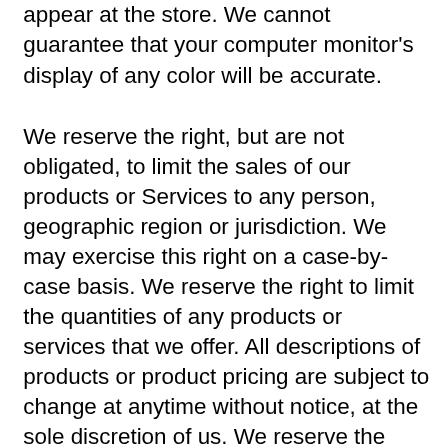appear at the store. We cannot guarantee that your computer monitor's display of any color will be accurate.
We reserve the right, but are not obligated, to limit the sales of our products or Services to any person, geographic region or jurisdiction. We may exercise this right on a case-by-case basis. We reserve the right to limit the quantities of any products or services that we offer. All descriptions of products or product pricing are subject to change at anytime without notice, at the sole discretion of us. We reserve the right to discontinue any product at any time. Any offer for any product or service made on this site is void where prohibited.
We do not warrant that the quality of any products, services, information, or other material purchased or obtained by you will meet your expectations, or that any errors in the Service will be corrected.
We reserve the right to refuse any order you place